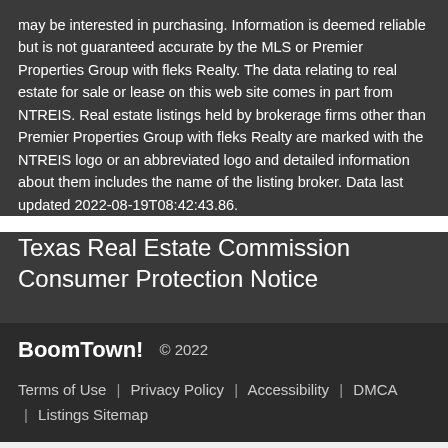may be interested in purchasing. Information is deemed reliable but is not guaranteed accurate by the MLS or Premier Properties Group with fleks Realty. The data relating to real estate for sale or lease on this web site comes in part from NTREIS. Real estate listings held by brokerage firms other than Premier Properties Group with fleks Realty are marked with the NTREIS logo or an abbreviated logo and detailed information about them includes the name of the listing broker. Data last updated 2022-08-19T08:42:43.86.
Texas Real Estate Commission Consumer Protection Notice
BoomTown! © 2022
Terms of Use | Privacy Policy | Accessibility | DMCA | Listings Sitemap
Take a Tour
Ask A Question